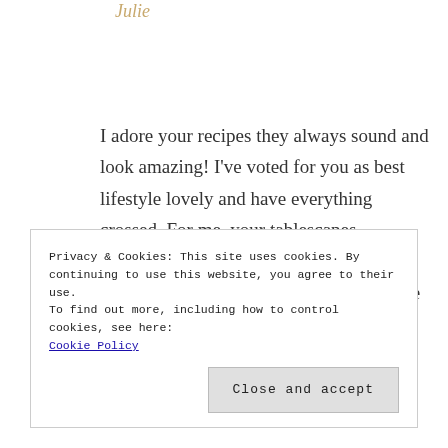[Figure (logo): Handwritten/script style blog logo in gold/tan color]
I adore your recipes they always sound and look amazing! I've voted for you as best lifestyle lovely and have everything crossed. For me, your tablescapes, beautiful food staging and other snippets of life are what lifestyle is all about. Huge luck to you xxx
Reply
Privacy & Cookies: This site uses cookies. By continuing to use this website, you agree to their use.
To find out more, including how to control cookies, see here:
Cookie Policy
Close and accept